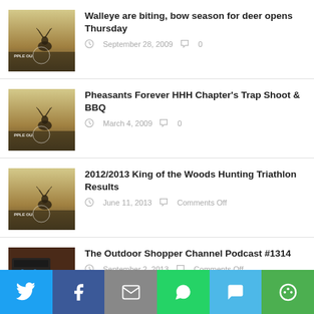[Figure (photo): Deer silhouette thumbnail for Walleye article]
Walleye are biting, bow season for deer opens Thursday
September 28, 2009  0
[Figure (photo): Deer silhouette thumbnail for Pheasants article]
Pheasants Forever HHH Chapter's Trap Shoot & BBQ
March 4, 2009  0
[Figure (photo): Deer silhouette thumbnail for King of the Woods article]
2012/2013 King of the Woods Hunting Triathlon Results
June 11, 2013  Comments Off
[Figure (photo): Microphone/radio equipment for Outdoor Shopper Channel Podcast]
The Outdoor Shopper Channel Podcast #1314
September 2, 2013  Comments Off